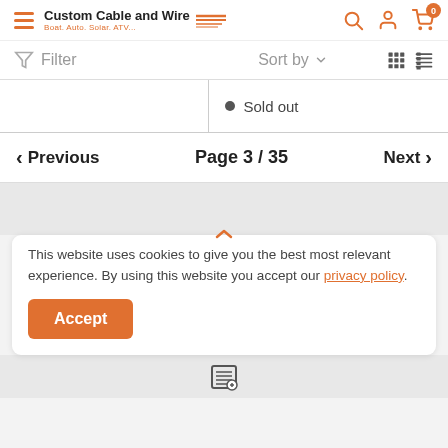Custom Cable and Wire — Boat. Auto. Solar. ATV...
Filter  Sort by
• Sold out
‹ Previous   Page 3 / 35   Next ›
This website uses cookies to give you the best most relevant experience. By using this website you accept our privacy policy.
Accept